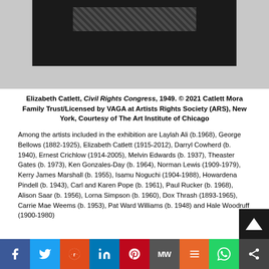[Figure (photo): Partial view of artwork by Elizabeth Catlett - dark/black image with rope-like texture, shown cropped at top of page]
Elizabeth Catlett, Civil Rights Congress, 1949. © 2021 Catlett Mora Family Trust/Licensed by VAGA at Artists Rights Society (ARS), New York, Courtesy of The Art Institute of Chicago
Among the artists included in the exhibition are Laylah Ali (b.1968), George Bellows (1882-1925), Elizabeth Catlett (1915-2012), Darryl Cowherd (b. 1940), Ernest Crichlow (1914-2005), Melvin Edwards (b. 1937), Theaster Gates (b. 1973), Ken Gonzales-Day (b. 1964), Norman Lewis (1909-1979), Kerry James Marshall (b. 1955), Isamu Noguchi (1904-1988), Howardena Pindell (b. 1943), Carl and Karen Pope (b. 1961), Paul Rucker (b. 1968), Alison Saar (b. 1956), Lorna Simpson (b. 1960), Dox Thrash (1893-1965), Carrie Mae Weems (b. 1953), Pat Ward Williams (b. 1948) and Hale Woodruff (1900-1980)